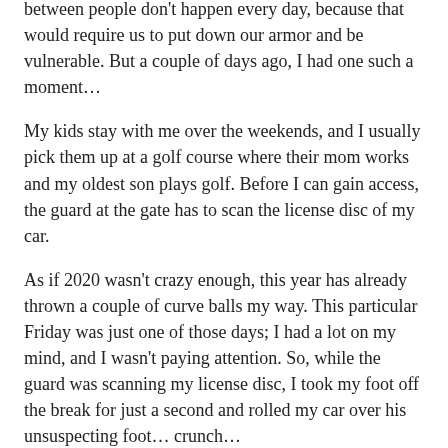between people don't happen every day, because that would require us to put down our armor and be vulnerable. But a couple of days ago, I had one such a moment…
My kids stay with me over the weekends, and I usually pick them up at a golf course where their mom works and my oldest son plays golf. Before I can gain access, the guard at the gate has to scan the license disc of my car.
As if 2020 wasn't crazy enough, this year has already thrown a couple of curve balls my way. This particular Friday was just one of those days; I had a lot on my mind, and I wasn't paying attention. So, while the guard was scanning my license disc, I took my foot off the break for just a second and rolled my car over his unsuspecting foot… crunch…
Needless to say, he wasn't happy. I felt like an idiot and could immediately feel my defenses going up—not just because of his reaction but because I'm programmed to get defensive, and this affects how I interpret situations, even when the other person hasn't done anything wrong.